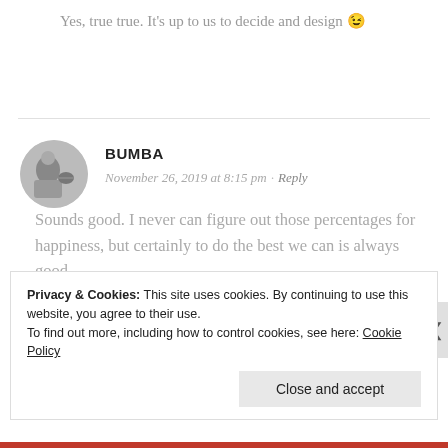Yes, true true. It’s up to us to decide and design 😉
[Figure (photo): Circular avatar photo of a person in black and white, labeled Bumba]
BUMBA
November 26, 2019 at 8:15 pm · Reply
Sounds good. I never can figure out those percentages for happiness, but certainly to do the best we can is always good.
Privacy & Cookies: This site uses cookies. By continuing to use this website, you agree to their use.
To find out more, including how to control cookies, see here: Cookie Policy
Close and accept